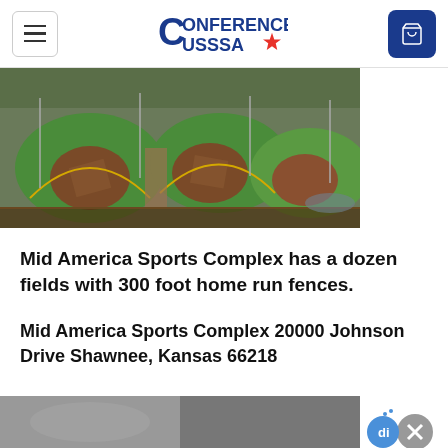Conference USSSA (logo header with menu and cart)
[Figure (photo): Aerial view of Mid America Sports Complex showing multiple baseball/softball fields with green turf and brown dirt infields]
Mid America Sports Complex has a dozen fields with 300 foot home run fences.
Mid America Sports Complex 20000 Johnson Drive Shawnee, Kansas 66218
[Figure (photo): Partial bottom image strip, partially visible]